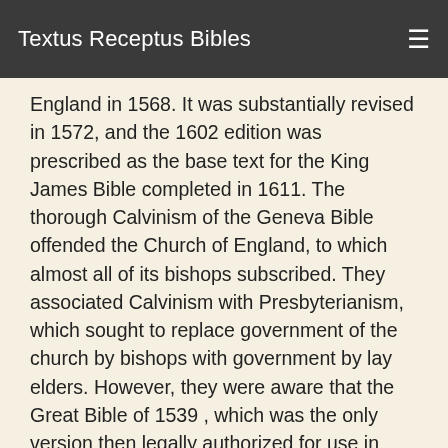Textus Receptus Bibles
England in 1568. It was substantially revised in 1572, and the 1602 edition was prescribed as the base text for the King James Bible completed in 1611. The thorough Calvinism of the Geneva Bible offended the Church of England, to which almost all of its bishops subscribed. They associated Calvinism with Presbyterianism, which sought to replace government of the church by bishops with government by lay elders. However, they were aware that the Great Bible of 1539 , which was the only version then legally authorized for use in Anglican worship, was severely deficient, in that much of the Old Testament and